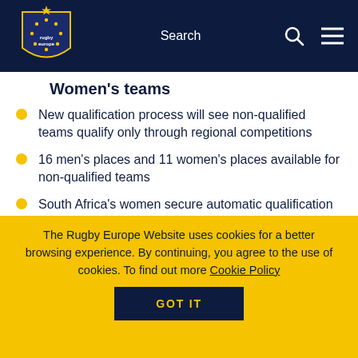[Figure (logo): Rugby Europe shield logo with stars on dark navy background, navigation bar with Search text and icons]
Women's teams
New qualification process will see non-qualified teams qualify only through regional competitions
16 men's places and 11 women's places available for non-qualified teams
South Africa's women secure automatic qualification as tournament hosts
World Rugby and hosts South Africa Rugby today confirmed Rugby
The Rugby Europe Website uses cookies for a better browsing experience. By continuing, you agree to the use of cookies. To find out more Cookie Policy
GOT IT